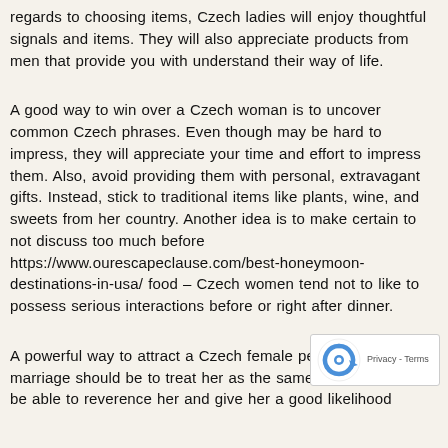regards to choosing items, Czech ladies will enjoy thoughtful signals and items. They will also appreciate products from men that provide you with understand their way of life.
A good way to win over a Czech woman is to uncover common Czech phrases. Even though may be hard to impress, they will appreciate your time and effort to impress them. Also, avoid providing them with personal, extravagant gifts. Instead, stick to traditional items like plants, wine, and sweets from her country. Another idea is to make certain to not discuss too much before https://www.ourescapeclause.com/best-honeymoon-destinations-in-usa/ food – Czech women tend not to like to possess serious interactions before or right after dinner.
A powerful way to attract a Czech female pertaining to marriage should be to treat her as the same. Men should be able to reverence her and give her a good likelihood
[Figure (other): reCAPTCHA badge with blue circular arrow logo and 'Privacy - Terms' text]